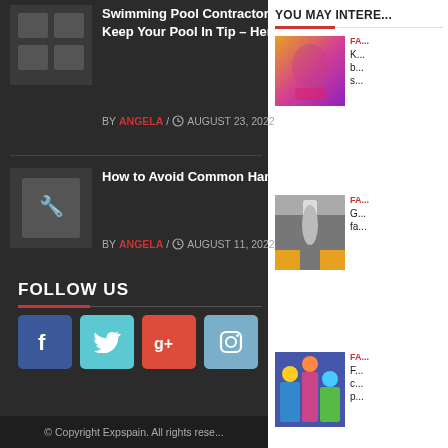[Figure (photo): Dark thumbnail image for swimming pool article]
Swimming Pool Contractor St Louis County,MO Can Keep Your Pool In Tip – Here's How
BY ANGELA / AUGUST 23, 2022
[Figure (photo): Dark thumbnail image for handyman scams article]
How to Avoid Common Hand... Scams
BY ANGELA / AUGUST 11, 2022
FOLLOW US
[Figure (infographic): Social media icons: Facebook, Twitter, Google+, Instagram]
© Copyright Expspain. All rights rese...
YOU MAY INTERE...
[Figure (photo): Colorful photo of woman in traditional dress - fashion article]
FA... K... b... s...
[Figure (photo): Woman posing on city street with taxis - fashion article]
FA... G... fa...
[Figure (photo): Group of people in costumes - fashion article]